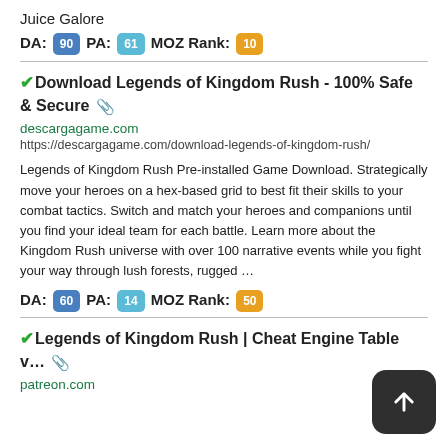Juice Galore
DA: 90  PA: 61  MOZ Rank: 10
✓Download Legends of Kingdom Rush - 100% Safe & Secure ↗
descargagame.com
https://descargagame.com/download-legends-of-kingdom-rush/
Legends of Kingdom Rush Pre-installed Game Download. Strategically move your heroes on a hex-based grid to best fit their skills to your combat tactics. Switch and match your heroes and companions until you find your ideal team for each battle. Learn more about the Kingdom Rush universe with over 100 narrative events while you fight your way through lush forests, rugged …
DA: 60  PA: 14  MOZ Rank: 50
✓Legends of Kingdom Rush | Cheat Engine Table v… ↗
patreon.com